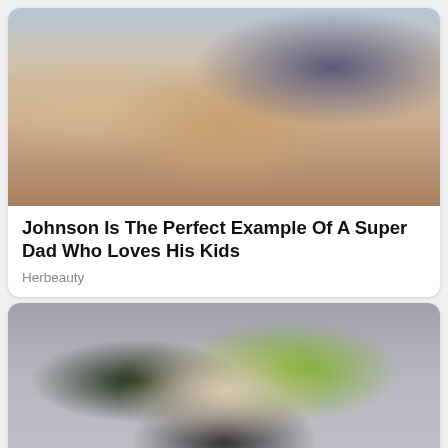[Figure (photo): A muscular tattooed man brushing the hair of a young girl sitting in an orange chair in a pink-decorated room]
Johnson Is The Perfect Example Of A Super Dad Who Loves His Kids
Herbeauty
[Figure (photo): Close-up portrait of a young woman with green and black two-tone hair, looking up, with accessories near her mouth]